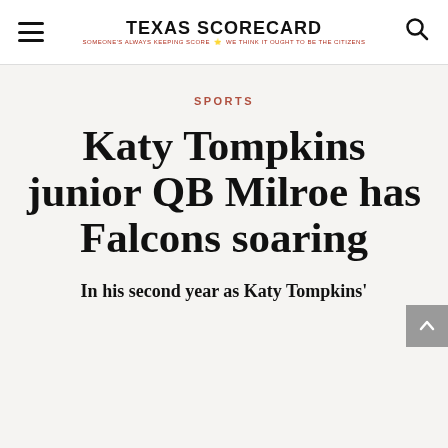TEXAS SCORECARD — SOMEONE'S ALWAYS KEEPING SCORE — WE THINK IT OUGHT TO BE THE CITIZENS
SPORTS
Katy Tompkins junior QB Milroe has Falcons soaring
In his second year as Katy Tompkins'